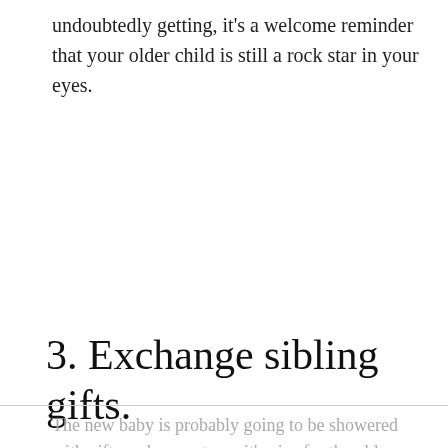undoubtedly getting, it's a welcome reminder that your older child is still a rock star in your eyes.
3. Exchange sibling gifts.
The new baby is probably going to be showered with gifts and presents, so it's nice for the older